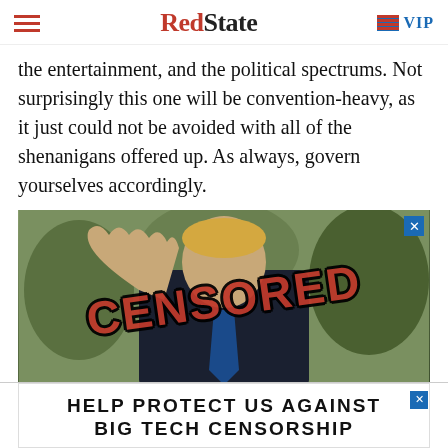RedState VIP
the entertainment, and the political spectrums. Not surprisingly this one will be convention-heavy, as it just could not be avoided with all of the shenanigans offered up. As always, govern yourselves accordingly.
[Figure (photo): Photo of a man waving with a large red 'CENSORED' stamp overlaid on the image. Small blue X close button in top right corner.]
BREAKING: Pres. Trump Has Been Permanently Bann Twitter, Media Rejoices
HELP PROTECT US AGAINST BIG TECH CENSORSHIP